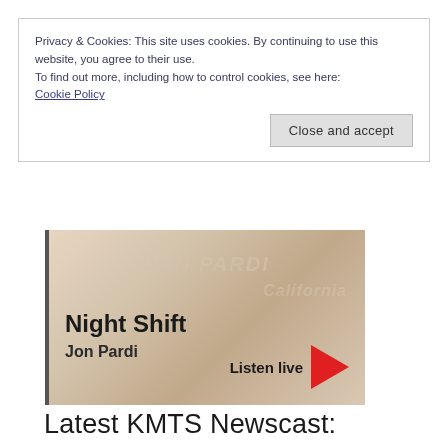Privacy & Cookies: This site uses cookies. By continuing to use this website, you agree to their use.
To find out more, including how to control cookies, see here:
Cookie Policy
Close and accept
[Figure (screenshot): Music player widget showing album art background of Jon Pardi, with song title 'Night Shift', artist 'Jon Pardi', and a 'Listen live' button with red play triangle]
Latest KMTS Newscast: